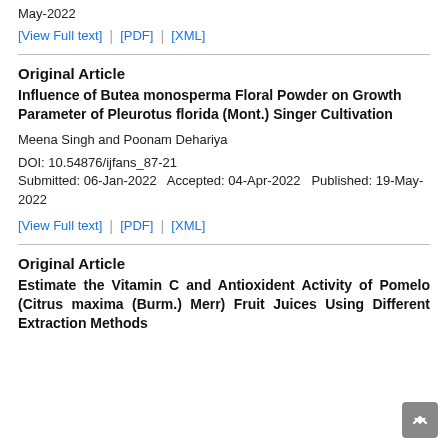May-2022
[View Full text] | [PDF] | [XML]
Original Article
Influence of Butea monosperma Floral Powder on Growth Parameter of Pleurotus florida (Mont.) Singer Cultivation
Meena Singh and Poonam Dehariya
DOI: 10.54876/ijfans_87-21
Submitted: 06-Jan-2022   Accepted: 04-Apr-2022   Published: 19-May-2022
[View Full text] | [PDF] | [XML]
Original Article
Estimate the Vitamin C and Antioxident Activity of Pomelo (Citrus maxima (Burm.) Merr) Fruit Juices Using Different Extraction Methods